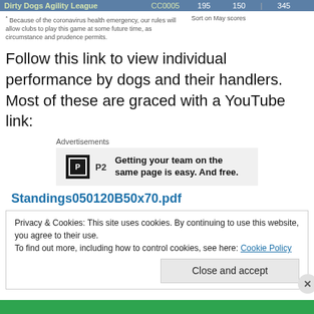| Club | Code | 195 | 150 |  | 345 |
| --- | --- | --- | --- | --- | --- |
| Dirty Dogs Agility League | CC0005 | 195 | 150 |  | 345 |
* Because of the coronavirus health emergency, our rules will allow clubs to play this game at some future time, as circumstance and prudence permits.
Sort on May scores
Follow this link to view individual performance by dogs and their handlers. Most of these are graced with a YouTube link:
[Figure (other): Advertisement box: P2 logo with text 'Getting your team on the same page is easy. And free.']
Standings050120B50x70.pdf
Privacy & Cookies: This site uses cookies. By continuing to use this website, you agree to their use.
To find out more, including how to control cookies, see here: Cookie Policy